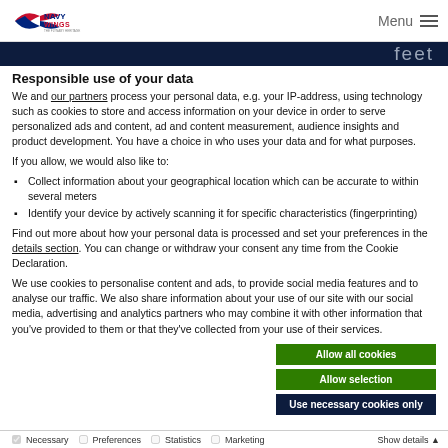Navy Wings | Menu
Responsible use of your data
We and our partners process your personal data, e.g. your IP-address, using technology such as cookies to store and access information on your device in order to serve personalized ads and content, ad and content measurement, audience insights and product development. You have a choice in who uses your data and for what purposes.
If you allow, we would also like to:
Collect information about your geographical location which can be accurate to within several meters
Identify your device by actively scanning it for specific characteristics (fingerprinting)
Find out more about how your personal data is processed and set your preferences in the details section. You can change or withdraw your consent any time from the Cookie Declaration.
We use cookies to personalise content and ads, to provide social media features and to analyse our traffic. We also share information about your use of our site with our social media, advertising and analytics partners who may combine it with other information that you've provided to them or that they've collected from your use of their services.
Allow all cookies | Allow selection | Use necessary cookies only
Necessary | Preferences | Statistics | Marketing | Show details